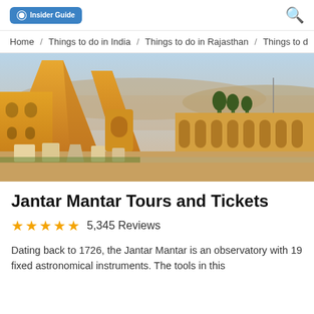Insider Guide | Search
Home / Things to do in India / Things to do in Rajasthan / Things to d
[Figure (photo): Aerial view of Jantar Mantar observatory in Jaipur, India, showing large yellow-orange sandstone astronomical instruments and archways under a clear sky at golden hour.]
Jantar Mantar Tours and Tickets
★★★★★ 5,345 Reviews
Dating back to 1726, the Jantar Mantar is an observatory with 19 fixed astronomical instruments. The tools in this